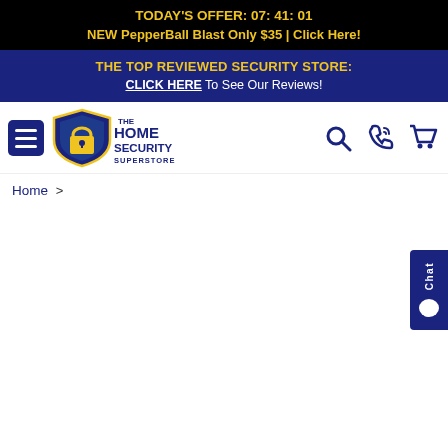TODAY'S OFFER: 07: 41: 01
NEW PepperBall Blast Only $35 | Click Here!
THE TOP REVIEWED SECURITY STORE:
CLICK HERE To See Our Reviews!
[Figure (logo): The Home Security Superstore logo — shield shape with house icon in blue and yellow, text reading THE HOME SECURITY SUPERSTORE]
Home >